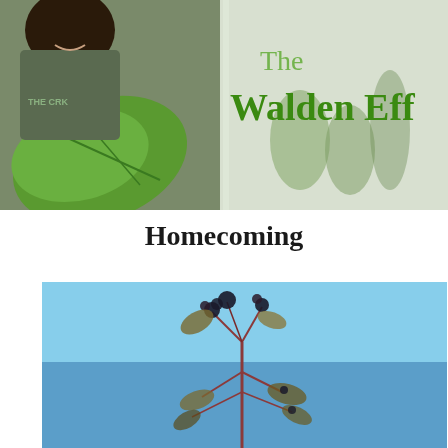[Figure (photo): Woman smiling and examining a large green leafy plant inside a greenhouse or plastic-covered tunnel. Text overlay reads 'The Walden Effe' (partially visible) in green lettering. T-shirt visible with text 'THE CRK'.]
Homecoming
[Figure (photo): A plant with dark berries or seed clusters on bare reddish-brown branches photographed against a blue sky background.]